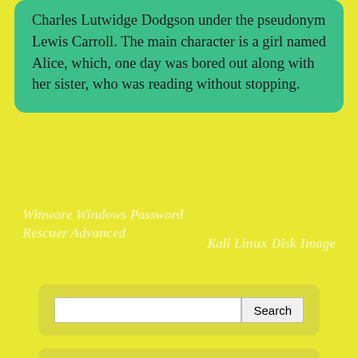Charles Lutwidge Dodgson under the pseudonym Lewis Carroll. The main character is a girl named Alice, which, one day was bored out along with her sister, who was reading without stopping.
Winware Windows Password Rescuer Advanced
Kali Linux Disk Image
Search
Most Popular Posts